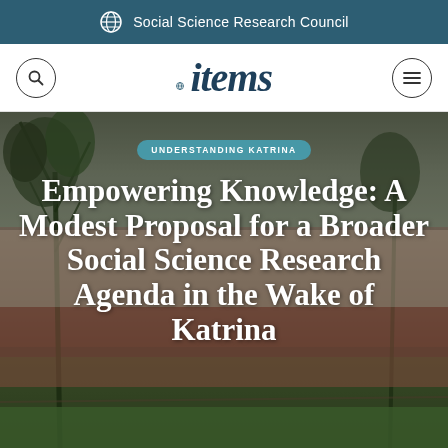Social Science Research Council
items
[Figure (photo): Photograph of a house with storm damage, dark cloudy sky and overgrown vegetation in the foreground, overlaid with article headline text]
UNDERSTANDING KATRINA
Empowering Knowledge: A Modest Proposal for a Broader Social Science Research Agenda in the Wake of Katrina